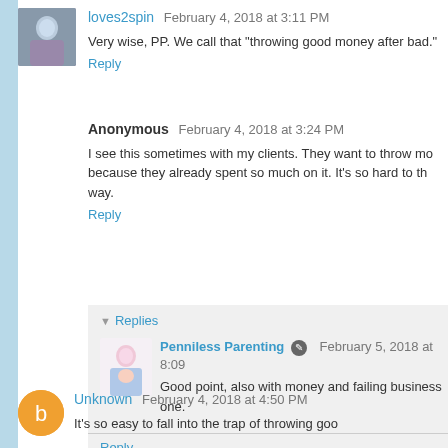loves2spin  February 4, 2018 at 3:11 PM
Very wise, PP. We call that "throwing good money after bad."
Reply
Anonymous  February 4, 2018 at 3:24 PM
I see this sometimes with my clients. They want to throw mo because they already spent so much on it. It's so hard to th way.
Reply
▼ Replies
Penniless Parenting  February 5, 2018 at 8:09
Good point, also with money and failing business one.
Reply
Unknown  February 4, 2018 at 4:50 PM
It's so easy to fall into the trap of throwing goo